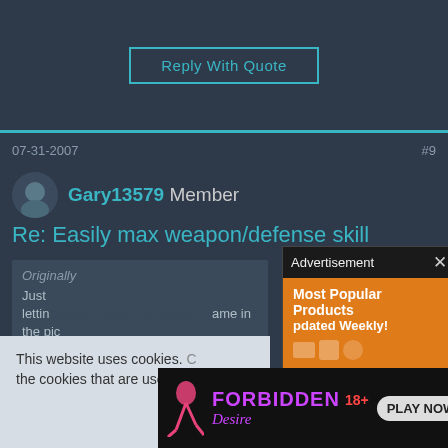Reply With Quote
07-31-2007
#9
Gary13579 Member
Re: Easily max weapon/defense skill
Originally  ... Just lettin ... ame in the pic unless yo...
Why? ZOMG S... NOOO!!!
[Figure (screenshot): Advertisement popup overlay showing 'Most Popular Products Updated Weekly!' on orange background with product icons]
[Figure (screenshot): News video popup: 'Browns QB Deshaun Watson suspended...' with mute button and meijer sponsor logos, showing man at press conference]
This website uses cookies. ... the cookies that are used. B...
[Figure (screenshot): Adult advertisement banner: FORBIDDEN Desire 18+ PLAY NOW]